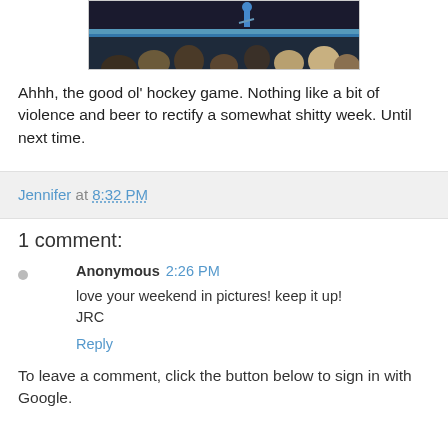[Figure (photo): Partial hockey game photo showing audience heads from behind and a player or figure on ice/rink in blue, with arena boards visible]
Ahhh, the good ol' hockey game. Nothing like a bit of violence and beer to rectify a somewhat shitty week. Until next time.
Jennifer at 8:32 PM
1 comment:
Anonymous 2:26 PM
love your weekend in pictures! keep it up!
JRC
Reply
To leave a comment, click the button below to sign in with Google.